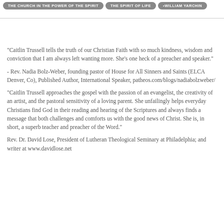THE CHURCH IN THE POWER OF THE SPIRIT  •  THE SPIRIT OF LIFE  •  WILLIAM YARCHIN
"Caitlin Trussell tells the truth of our Christian Faith with so much kindness, wisdom and conviction that I am always left wanting more. She's one heck of a preacher and speaker."
- Rev. Nadia Bolz-Weber, founding pastor of House for All Sinners and Saints (ELCA Denver, Co), Published Author, International Speaker, patheos.com/blogs/nadiabolzweber/
"Caitlin Trussell approaches the gospel with the passion of an evangelist, the creativity of an artist, and the pastoral sensitivity of a loving parent. She unfailingly helps everyday Christians find God in their reading and hearing of the Scriptures and always finds a message that both challenges and comforts us with the good news of Christ. She is, in short, a superb teacher and preacher of the Word."
Rev. Dr. David Lose, President of Lutheran Theological Seminary at Philadelphia; and writer at www.davidlose.net